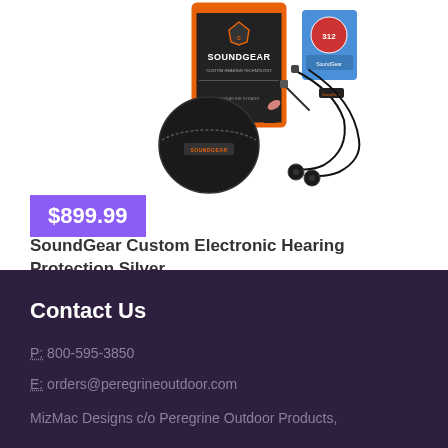[Figure (photo): SoundGear product kit showing black carrying case with zipper, orange-bordered product box labeled SOUNDGEAR, battery pack, small tools/accessories, lanyard with earbuds, and small ear tips]
$899.99
SoundGear Custom Electronic Hearing Protection Silver
Contact Us
P: 800-595-3850
E: orders@peregrineoutdoor.com
MizMac Designs c/o Peregrine Outdoor Products,